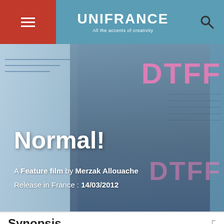UNIFRANCE
All the accents of creativity
[Figure (photo): Hero image showing a middle-aged man with glasses and gray hair against a blurred background with DTFF text visible. Overlaid with film title 'Normal!' and credits.]
Normal!
A Feature film by Merzak Allouache
Release in France : 14/03/2012
Synopsis
After the riots in December and the first peaceful marches, and while the Arab Spring begins in Tunisia and Egypt, in Algeria Fouzi wants to get this actors together to show them the unfinished edit of a film that he'd shot two years earlier about the disillusion of local young people trying to express their artistic ideas.
He's looking for another point of view and above all for an ending and is counting on the actors' reactions to invent a new resolution to his story in a country that is suddenly